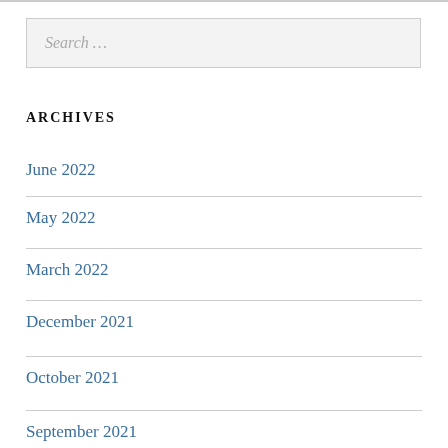Search …
ARCHIVES
June 2022
May 2022
March 2022
December 2021
October 2021
September 2021